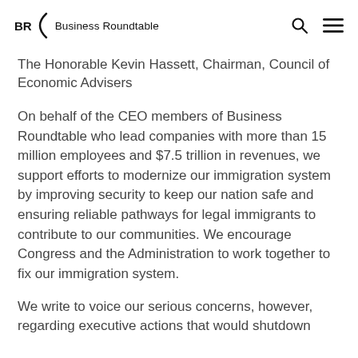BR Business Roundtable
The Honorable Kevin Hassett, Chairman, Council of Economic Advisers
On behalf of the CEO members of Business Roundtable who lead companies with more than 15 million employees and $7.5 trillion in revenues, we support efforts to modernize our immigration system by improving security to keep our nation safe and ensuring reliable pathways for legal immigrants to contribute to our communities. We encourage Congress and the Administration to work together to fix our immigration system.
We write to voice our serious concerns, however, regarding executive actions that would shutdown